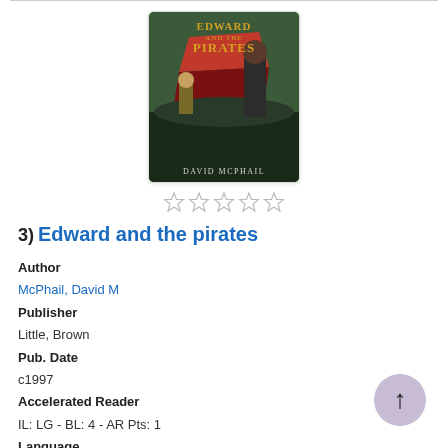[Figure (illustration): Book cover of 'Edward and the Pirates' by David McPhail, showing pirates on a boat with a child, dark tones with red sail]
[Figure (other): Five empty/outline star rating icons]
3) Edward and the pirates
Author
McPhail, David M
Publisher
Little, Brown
Pub. Date
c1997
Accelerated Reader
IL: LG - BL: 4 - AR Pts: 1
Language
English